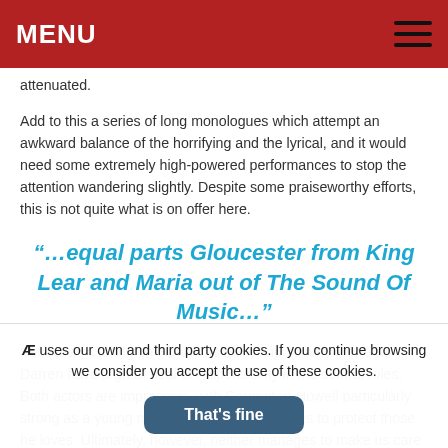MENU
attenuated.
Add to this a series of long monologues which attempt an awkward balance of the horrifying and the lyrical, and it would need some extremely high-powered performances to stop the attention wandering slightly. Despite some praiseworthy efforts, this is not quite what is on offer here.
“…equal parts Gloucester from King Lear and Maria out of The Sound Of Music…”
Sebastian Carrington-Howell as Elliot and Tommy Rowe as Darren have a great deal of responsibility in the central roles. Both actors are impressive, with Carrington-Howell particularly strong as a young man doing whatever it takes to protect those he loves. Ultimately, however, neither manages to make us care enough about what
Æ uses our own and third party cookies. If you continue browsing we consider you accept the use of these cookies.
That’s fine